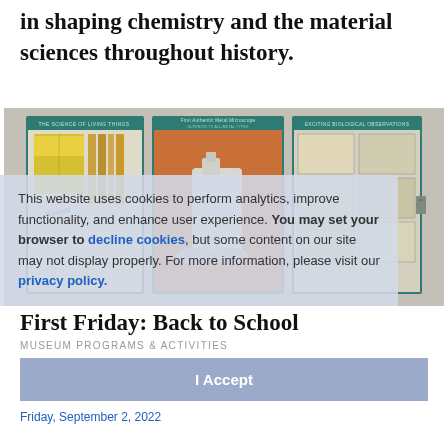in shaping chemistry and the material sciences throughout history.
[Figure (photo): A vintage educational science kit open to display three panels: left panel titled 'The Science of Living Things', center panel titled 'First Authentic Metal Microscope' with a microscope, and right panel titled 'Exciting Biological Observations' with specimen slides.]
This website uses cookies to perform analytics, improve functionality, and enhance user experience. You may set your browser to decline cookies, but some content on our site may not display properly. For more information, please visit our privacy policy.
First Friday: Back to School
MUSEUM PROGRAMS & ACTIVITIES
I Accept
Friday, September 2, 2022